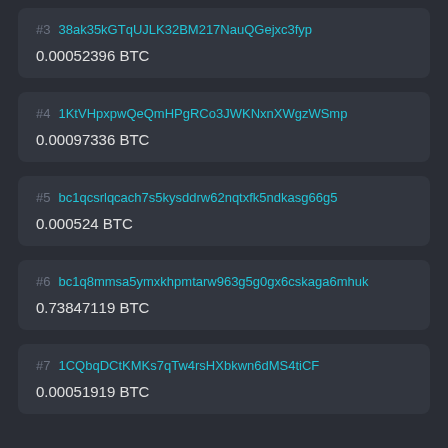#3 38ak35kGTqUJLK32BM217NauQGejxc3fyp — 0.00052396 BTC
#4 1KtVHpxpwQeQmHPgRCo3JWKNxnXWgzWSmp — 0.00097336 BTC
#5 bc1qcsrlqcach7s5kysddrw62nqtxfk5ndkasg66g5 — 0.000524 BTC
#6 bc1q8mmsa5ymxkhpmtarw963g5g0gx6cskaga6mhuk — 0.73847119 BTC
#7 1CQbqDCtKMKs7qTw4rsHXbkwn6dMS4tiCF — 0.00051919 BTC